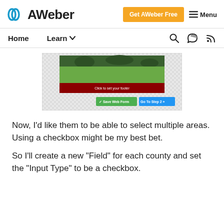[Figure (logo): AWeber logo with circular wave icon and bold text 'AWeber']
[Figure (screenshot): AWeber web form builder screenshot showing a lawn/garden image template with a dark red footer bar saying 'Click to set your footer', and two buttons: a green 'Save Web Form' button and a blue 'Go To Step 2' button with double arrows]
Now, I’d like them to be able to select multiple areas. Using a checkbox might be my best bet.
So I’ll create a new “Field” for each county and set the “Input Type” to be a checkbox.